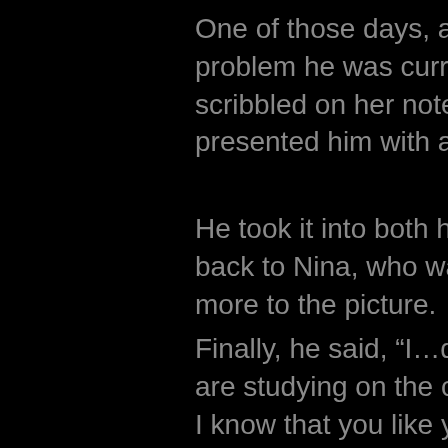One of those days, as he t problem he was currently scribbled on her notepad a presented him with a stur
He took it into both hands back to Nina, who was sm more to the picture.
Finally, he said, “I…don’t th are studying on the campu I know that you like yours favorite color is blue, that